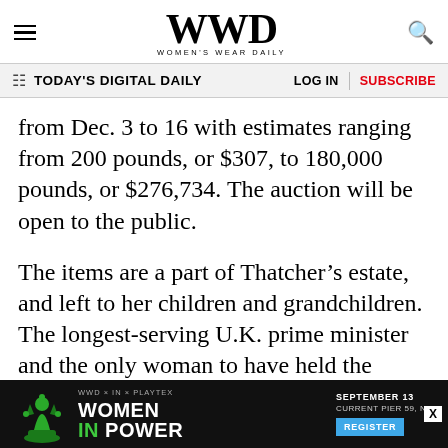WWD WOMEN'S WEAR DAILY
TODAY'S DIGITAL DAILY | LOG IN | SUBSCRIBE
from Dec. 3 to 16 with estimates ranging from 200 pounds, or $307, to 180,000 pounds, or $276,734. The auction will be open to the public.
The items are a part of Thatcher’s estate, and left to her children and grandchildren. The longest-serving U.K. prime minister and the only woman to have held the office, Thatcher was known for her strict economic policies and mantras of privatization, de-regulation, small government, low taxes and free trade.
[Figure (infographic): WWD x IN x PLAYTEX: Women in Power event advertisement. September 13, Current Pier 59, NY. Register button. Chess queen piece graphic in green.]